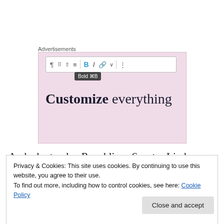Advertisements
[Figure (screenshot): WordPress-style editor toolbar with Bold button highlighted, showing tooltip 'Bold ⌘B', over a pink advertisement banner reading 'Customize everything']
And who to play Republican Senator Lindsey Graham, sputtering with rage at the gall of these forces conspiring to derail what felt like a fait accompli for the married, straight white judge? Is Tommy Lee Jones too old? What
Privacy & Cookies: This site uses cookies. By continuing to use this website, you agree to their use.
To find out more, including how to control cookies, see here: Cookie Policy
Close and accept
icon Harvey Milk, if you think about it. And you should